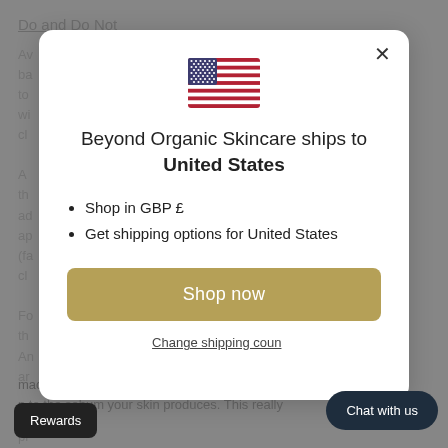Do and Do Not
Av... ba... to... wi... cl...
A... th... at ad... ap... (fa... cl...
Fo... th... s An... ar... Ri... pr... n sc...
[Figure (screenshot): Modal dialog overlaying a skincare article page. Contains a US flag icon, heading 'Beyond Organic Skincare ships to United States', bullet points 'Shop in GBP £' and 'Get shipping options for United States', a gold 'Shop now' button, and a 'Change shipping country' link. A dark 'Chat with us' pill button overlaps the bottom-right of the modal. A 'Rewards' button is at bottom-left.]
macadamia nut oil, which is very similar in
to the sebum your skin produces. This really